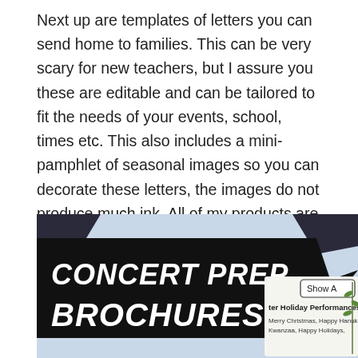Next up are templates of letters you can send home to families. This can be very scary for new teachers, but I assure you these are editable and can be tailored to fit the needs of your events, school, times etc. This also includes a mini-pamphlet of seasonal images so you can decorate these letters, the images do not produce much ink. All of my products are ink friendly for that matter.
[Figure (photo): Image of a 'Concert Prep Brochures' product cover with comic-style bold lettering on a dark speech bubble shape, and a partial view of a document titled 'Winter Holiday Performances' mentioning 'Merry Christmas, Happy Hanukkah, Kwanzaa, Happy Holidays' with a 'Show A' label tag.]